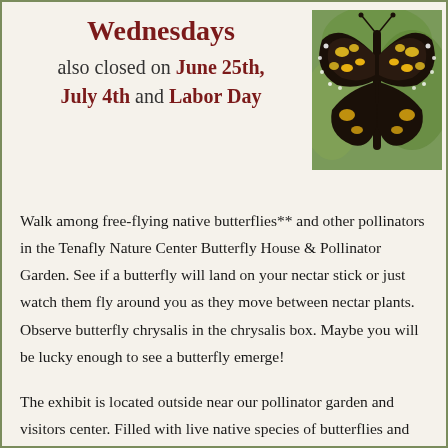Wednesdays also closed on June 25th, July 4th and Labor Day
[Figure (photo): Close-up photo of a monarch butterfly with yellow and black patterned wings perched on a stem against a green background]
Walk among free-flying native butterflies** and other pollinators in the Tenafly Nature Center Butterfly House & Pollinator Garden. See if a butterfly will land on your nectar stick or just watch them fly around you as they move between nectar plants. Observe butterfly chrysalis in the chrysalis box. Maybe you will be lucky enough to see a butterfly emerge!
The exhibit is located outside near our pollinator garden and visitors center. Filled with live native species of butterflies and chrysalis and offering visitors a total immersion experience for the young and old as it introduces guests to the wonders of